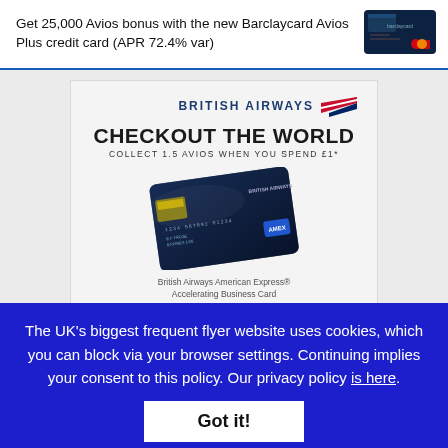Get 25,000 Avios bonus with the new Barclaycard Avios Plus credit card (APR 72.4% var)
[Figure (photo): Dark blue Barclaycard Avios Plus credit card with Mastercard logo]
[Figure (screenshot): British Airways American Express Accelerating Business Card advertisement. Shows 'CHECKOUT THE WORLD' headline, 'COLLECT 1.5 AVIOS WHEN YOU SPEND £1*' subline, image of dark blue credit card, card name 'British Airways American Express® Accelerating Business Card', partial APR text, and apply button.]
The UK's biggest frequent flyer website uses cookies, which you can block via your browser settings. Continuing implies your consent to this policy. Our privacy policy is here.
Got it!